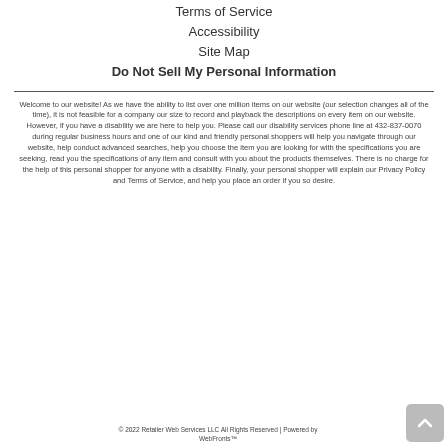Terms of Service
Accessibility
Site Map
Do Not Sell My Personal Information
Welcome to our website! As we have the ability to list over one million items on our website (our selection changes all of the time), it is not feasible for a company our size to record and playback the descriptions on every item on our website. However, if you have a disability we are here to help you. Please call our disability services phone line at 432-837-0070 during regular business hours and one of our kind and friendly personal shoppers will help you navigate through our website, help conduct advanced searches, help you choose the item you are looking for with the specifications you are seeking, read you the specifications of any item and consult with you about the products themselves. There is no charge for the help of this personal shopper for anyone with a disability. Finally, your personal shopper will explain our Privacy Policy and Terms of Service, and help you place an order if you so desire.
© 2022 Retailer Web Services LLC All Rights Reserved | Powered by WebFronts™